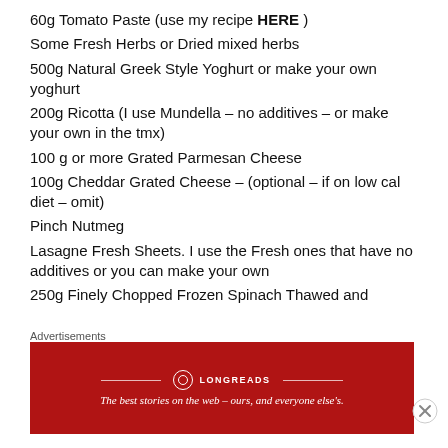60g Tomato Paste (use my recipe HERE )
Some Fresh Herbs or Dried mixed herbs
500g Natural Greek Style Yoghurt or make your own yoghurt
200g Ricotta (I use Mundella – no additives – or make your own in the tmx)
100 g or more Grated Parmesan Cheese
100g Cheddar Grated Cheese – (optional – if on low cal diet – omit)
Pinch Nutmeg
Lasagne Fresh Sheets. I use the Fresh ones that have no additives or you can make your own
250g Finely Chopped Frozen Spinach Thawed and
Advertisements
[Figure (other): Longreads advertisement banner: red background with Longreads logo and tagline 'The best stories on the web – ours, and everyone else's.']